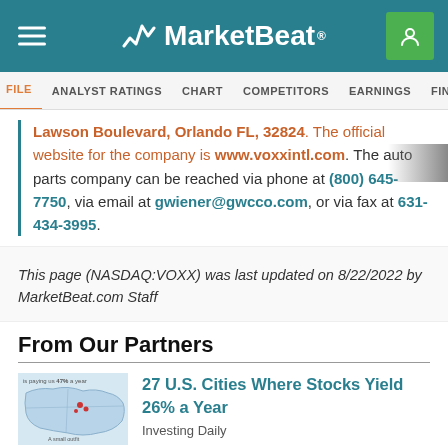MarketBeat
PROFILE  ANALYST RATINGS  CHART  COMPETITORS  EARNINGS  FINANCIALS
Lawson Boulevard, Orlando FL, 32824. The official website for the company is www.voxxintl.com. The auto parts company can be reached via phone at (800) 645-7750, via email at gwiener@gwcco.com, or via fax at 631-434-3995.
This page (NASDAQ:VOXX) was last updated on 8/22/2022 by MarketBeat.com Staff
From Our Partners
27 U.S. Cities Where Stocks Yield 26% a Year
Investing Daily